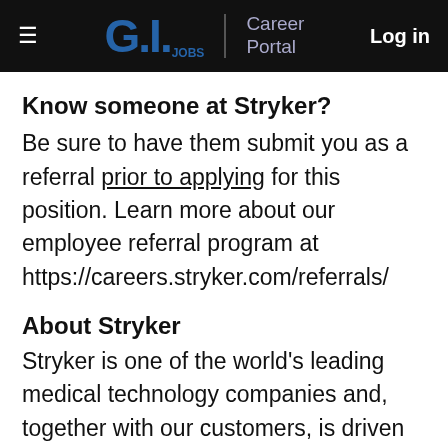G.I. JOBS | Career Portal   Log in
Know someone at Stryker?
Be sure to have them submit you as a referral prior to applying for this position. Learn more about our employee referral program at https://careers.stryker.com/referrals/
About Stryker
Stryker is one of the world's leading medical technology companies and, together with our customers, is driven to make healthcare better. We offer innovative products and services in...